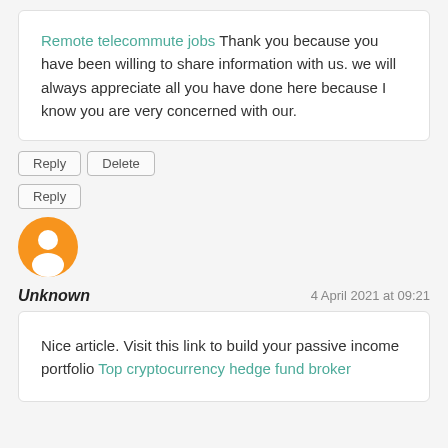Remote telecommute jobs Thank you because you have been willing to share information with us. we will always appreciate all you have done here because I know you are very concerned with our.
Reply Delete
Reply
[Figure (logo): Orange circular Blogger avatar icon with white person silhouette]
Unknown
4 April 2021 at 09:21
Nice article. Visit this link to build your passive income portfolio Top cryptocurrency hedge fund broker